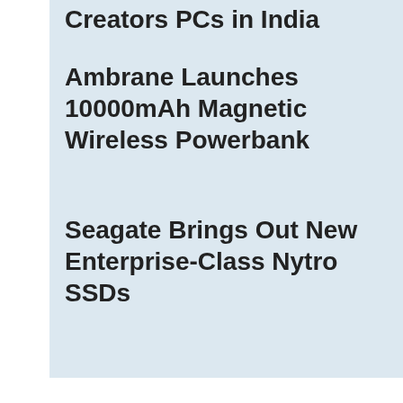Creators PCs in India
Ambrane Launches 10000mAh Magnetic Wireless Powerbank
Seagate Brings Out New Enterprise-Class Nytro SSDs